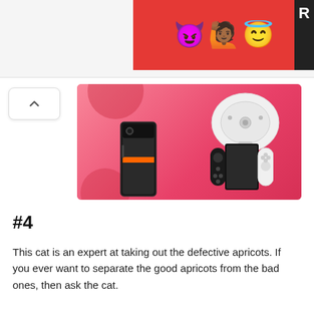[Figure (photo): Advertisement banner with emoji characters (devil, person with raised hands, angel) on a red background with letter R on right edge]
[Figure (photo): Pink product advertisement banner showing a white robot vacuum cleaner (disc shape), a Nintendo Switch console with white Joy-Cons, and a smartphone with orange stripe, on a coral/pink background with decorative circles]
#4
This cat is an expert at taking out the defective apricots. If you ever want to separate the good apricots from the bad ones, then ask the cat.